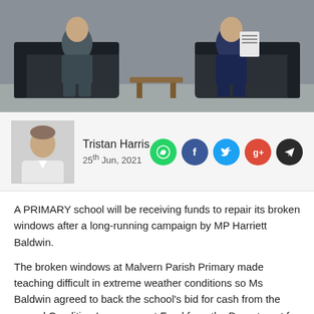[Figure (photo): Two people sitting on dark sofas facing each other in an office setting, one holding a document or booklet]
Tristan Harris
25th Jun, 2021
[Figure (infographic): Social share icons: WhatsApp (green), Facebook (blue), Twitter (light blue), Google+ (red), Telegram (dark)]
A PRIMARY school will be receiving funds to repair its broken windows after a long-running campaign by MP Harriett Baldwin.
The broken windows at Malvern Parish Primary made teaching difficult in extreme weather conditions so Ms Baldwin agreed to back the school's bid for cash from the annual Condition Improvement Fund from the Department for Education.
The MP met with headteacher Susan Parker in 2019 to discuss the issue and then with with Education Ministers.